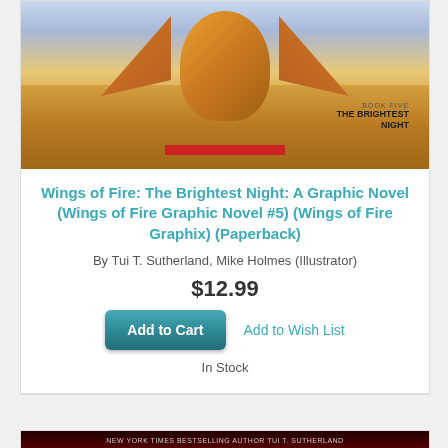[Figure (photo): Book cover of Wings of Fire: The Brightest Night graphic novel showing a dragon on a sandy landscape with wings spread, red Scholastic bar at bottom]
Wings of Fire: The Brightest Night: A Graphic Novel (Wings of Fire Graphic Novel #5) (Wings of Fire Graphix) (Paperback)
By Tui T. Sutherland, Mike Holmes (Illustrator)
$12.99
Add to Wish List
In Stock
[Figure (photo): Partial view of another book cover with dark red/black background showing author name text]